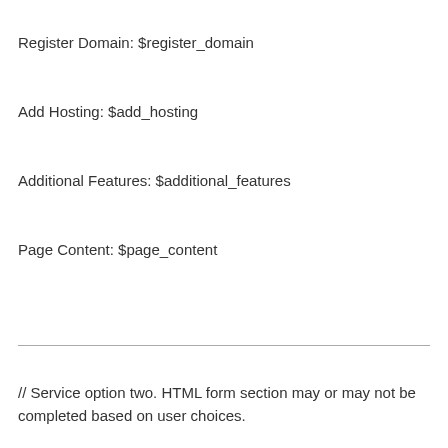Register Domain: $register_domain
Add Hosting: $add_hosting
Additional Features: $additional_features
Page Content: $page_content
// Service option two. HTML form section may or may not be completed based on user choices.